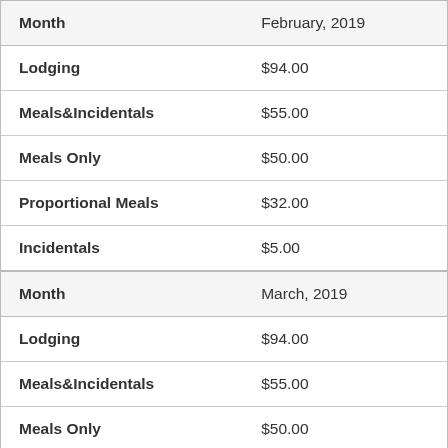| Field | Value |
| --- | --- |
| Month | February, 2019 |
| Lodging | $94.00 |
| Meals&Incidentals | $55.00 |
| Meals Only | $50.00 |
| Proportional Meals | $32.00 |
| Incidentals | $5.00 |
| Month | March, 2019 |
| Lodging | $94.00 |
| Meals&Incidentals | $55.00 |
| Meals Only | $50.00 |
| Proportional Meals | $32.00 |